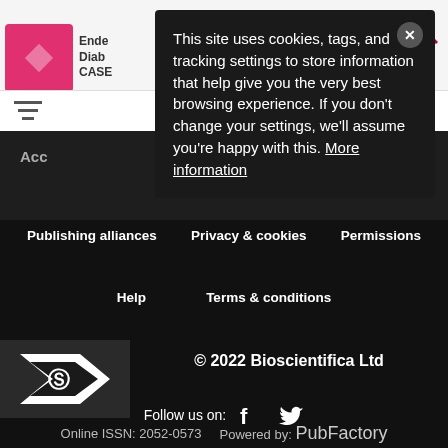[Figure (screenshot): Website header with Endocrine Diabetes Cases logo, hamburger menu icon, and search icon on white background]
This site uses cookies, tags, and tracking settings to store information that help give you the very best browsing experience. If you don't change your settings, we'll assume you're happy with this. More information
Acc
ing
Publishing alliances
Privacy & cookies
Permissions
Help
Terms & conditions
© 2022 Bioscientifica Ltd
Follow us on:
Online ISSN: 2052-0573   Powered by: PubFactory